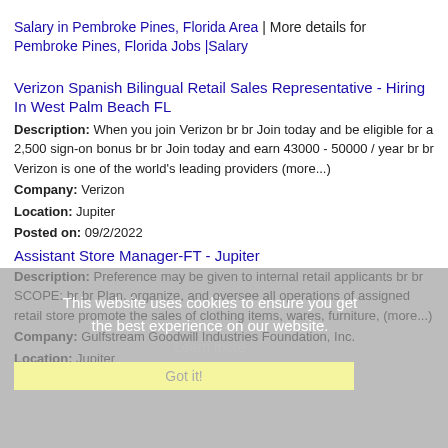Salary in Pembroke Pines, Florida Area | More details for Pembroke Pines, Florida Jobs |Salary
Verizon Spanish Bilingual Retail Sales Representative - Hiring In West Palm Beach FL
Description: When you join Verizon br br Join today and be eligible for a 2,500 sign-on bonus br br Join today and earn 43000 - 50000 / year br br Verizon is one of the world's leading providers (more...)
Company: Verizon
Location: Jupiter
Posted on: 09/2/2022
Assistant Store Manager-FT - Jupiter
Description: Preference may be given to internal retail applicants br br SCOPE: br br Plan, organize, and oversee all operations of assigned retail store promote the sales of clothing items, wares, furniture, (more...)
Company: Gulfstream Goodwill Industries Foundation, Inc.
Location: Jupiter
Posted on: 09/2/2022
This website uses cookies to ensure you get the best experience on our website.
Learn more
Got it!